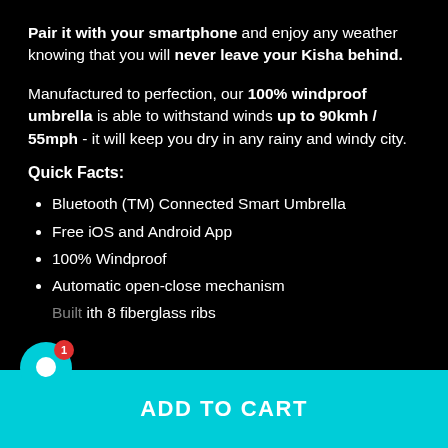Pair it with your smartphone and enjoy any weather knowing that you will never leave your Kisha behind.
Manufactured to perfection, our 100% windproof umbrella is able to withstand winds up to 90kmh / 55mph - it will keep you dry in any rainy and windy city.
Quick Facts:
Bluetooth (TM) Connected Smart Umbrella
Free iOS and Android App
100% Windproof
Automatic open-close mechanism
Built with 8 fiberglass ribs
ADD TO CART